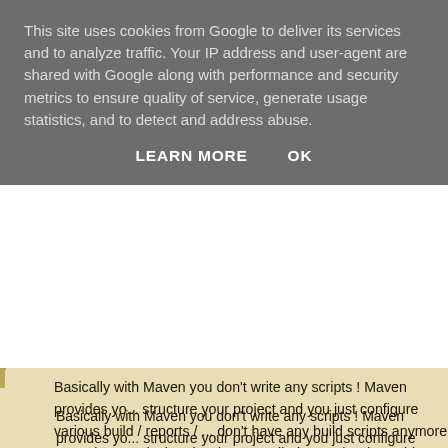This site uses cookies from Google to deliver its services and to analyze traffic. Your IP address and user-agent are shared with Google along with performance and security metrics to ensure quality of service, generate usage statistics, and to detect and address abuse.
LEARN MORE    OK
Basically with Maven you don't write any scripts ! Maven provides you a way to structure your project and you just configure various build / reports / ... You don't have any build scripts anymore -- you have a declarative description called POM (Project Object Model).
Maven also introduces the concept of repository. That is, a place where artifacts (the resulting JARs or WAR/EAR files) are saved and retrieved from. You can imagine a setup where the whole team uses a read-only repository with shared libs. Thus, they don't need to sit in the VCS !